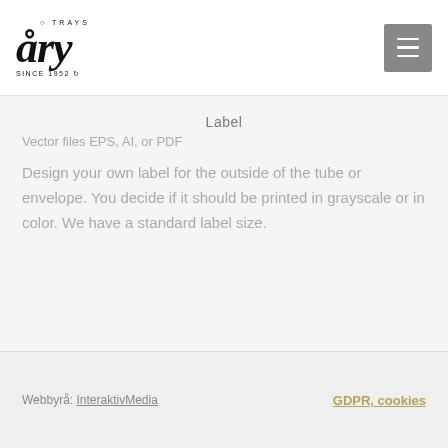ARY TRAYS SINCE 1952 — logo and navigation menu button
Label
Vector files EPS, AI, or PDF
Design your own label for the outside of the tube or envelope. You decide if it should be printed in grayscale or in color. We have a standard label size.
Webbyrå: InteraktivMedia    GDPR, cookies